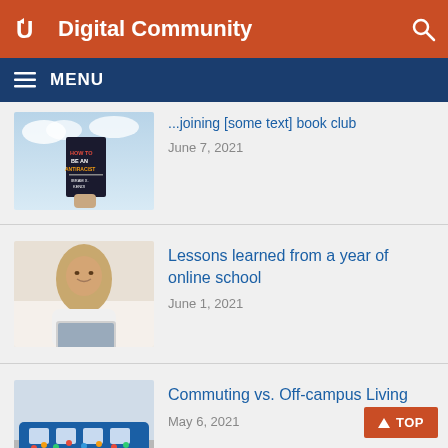Digital Community
MENU
[Figure (photo): Hand holding a book titled 'How to Be an Antiracist' against a cloudy sky background]
...joining [some text] book club
June 7, 2021
[Figure (photo): Person wearing hijab working on a laptop computer]
Lessons learned from a year of online school
June 1, 2021
[Figure (photo): A colorful decorated bus on a road]
Commuting vs. Off-campus Living
May 6, 2021